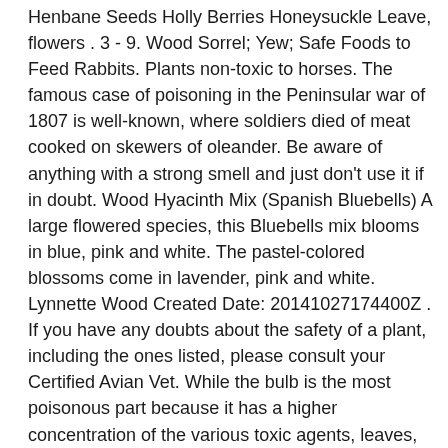Henbane Seeds Holly Berries Honeysuckle Leave, flowers . 3 - 9. Wood Sorrel; Yew; Safe Foods to Feed Rabbits. Plants non-toxic to horses. The famous case of poisoning in the Peninsular war of 1807 is well-known, where soldiers died of meat cooked on skewers of oleander. Be aware of anything with a strong smell and just don't use it if in doubt. Wood Hyacinth Mix (Spanish Bluebells) A large flowered species, this Bluebells mix blooms in blue, pink and white. The pastel-colored blossoms come in lavender, pink and white. Lynnette Wood Created Date: 20141027174400Z . If you have any doubts about the safety of a plant, including the ones listed, please consult your Certified Avian Vet. While the bulb is the most poisonous part because it has a higher concentration of the various toxic agents, leaves, stems, and flowers are also not safe. Some of the outdoor plants that are poisonous to cats include: Lilies - all varieties. Bluebells is poisonous and ingestion can cause severe discomfort. (Hyacinth Jacinthe) Enhance your purchase. Many fruits are safe for chickens, but the leaves and pits of an apricot contain cyanogenic glycosides that are highly toxic, triggering symptoms such as seizures, breathing